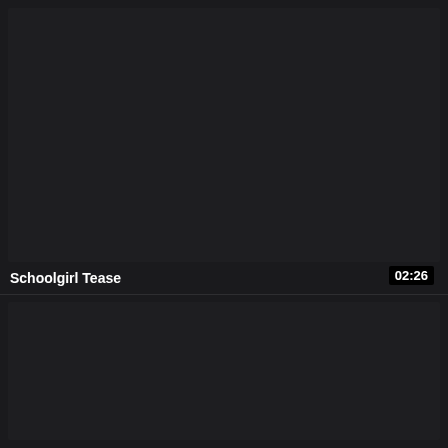[Figure (screenshot): Dark video thumbnail placeholder with duration badge showing 02:26]
02:26
Schoolgirl Tease
[Figure (screenshot): Second dark video thumbnail placeholder]